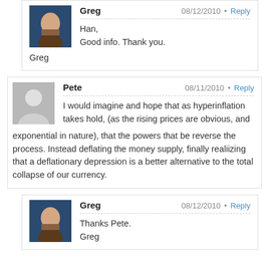Greg 08/12/2010 Reply
Han,
Good info. Thank you.
Greg
Pete 08/11/2010 Reply
I would imagine and hope that as hyperinflation takes hold, (as the rising prices are obvious, and exponential in nature), that the powers that be reverse the process. Instead deflating the money supply, finally realiizing that a deflationary depression is a better alternative to the total collapse of our currency.
Greg 08/12/2010 Reply
Thanks Pete.
Greg